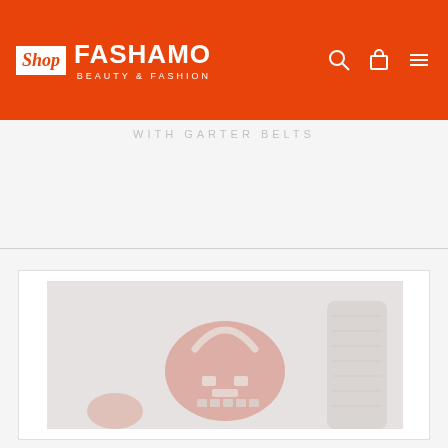[Figure (logo): Shop Fashamo - Beauty & Fashion logo on orange header background with navigation icons (search, cart, menu)]
WITH GARTER BELTS
[Figure (photo): Fashion product photo showing a red handbag with metallic clasps and hardware, held by a person wearing textured/snake-print accessories, washed out/faded image overlay]